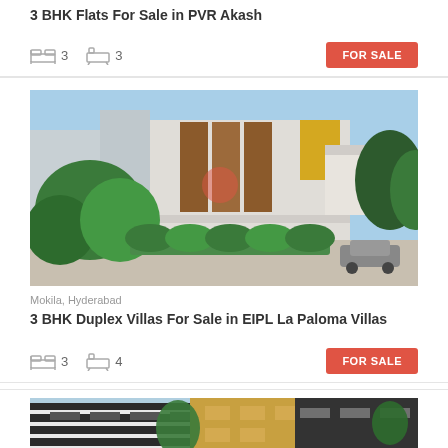3 BHK Flats For Sale in PVR Akash
Beds: 3, Bathrooms: 3, FOR SALE
[Figure (photo): Modern duplex villa with flat roof architecture, surrounded by lush green landscaping and trees, with a car parked in driveway]
Mokila, Hyderabad
3 BHK Duplex Villas For Sale in EIPL La Paloma Villas
Beds: 3, Bathrooms: 4, FOR SALE
[Figure (photo): Modern multi-storey apartment building with dark exterior, balconies, and surrounded by trees]